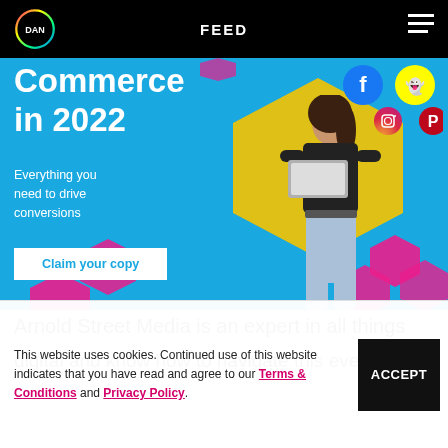FEED
[Figure (screenshot): Promotional banner on blue background showing partial text 'Commerce in 2022' with tagline 'Everything you need to drive conversions', a 'Claim your copy' button, a woman holding a laptop, decorative pink/yellow hexagons, and social media icons (Facebook, Snapchat, Instagram, Pinterest)]
Arnold Street Media is an expert in all things
digital and know how to navigate this ever
This website uses cookies. Continued use of this website indicates that you have read and agree to our Terms & Conditions and Privacy Policy.